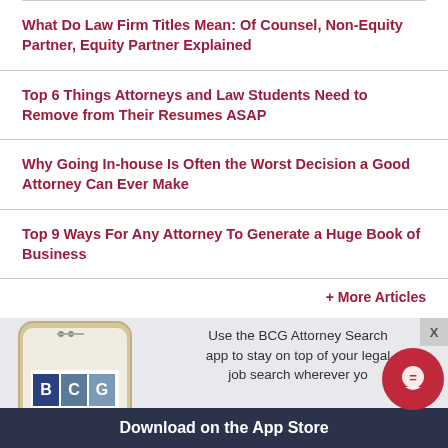What Do Law Firm Titles Mean: Of Counsel, Non-Equity Partner, Equity Partner Explained
Top 6 Things Attorneys and Law Students Need to Remove from Their Resumes ASAP
Why Going In-house Is Often the Worst Decision a Good Attorney Can Ever Make
Top 9 Ways For Any Attorney To Generate a Huge Book of Business
+ More Articles
[Figure (screenshot): BCG Attorney Search mobile app advertisement banner showing a smartphone with BCG Attorney Search logo, text 'Use the BCG Attorney Search app to stay on top of your legal job search wherever yo' and a dark blue bar with 'Download on the App Store']